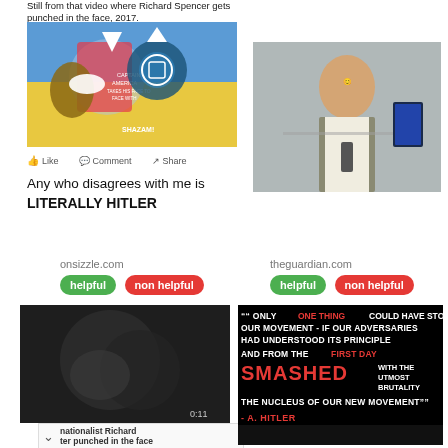Still from that video where Richard Spencer gets punched in the face, 2017.
[Figure (illustration): Captain America comic book cover showing Captain America punching a villain]
[Figure (photo): Richard Spencer smiling and holding a book at a podium]
Like   Comment   Share
Any who disagrees with me is LITERALLY HITLER
onsizzle.com
theguardian.com
helpful   non helpful
helpful   non helpful
[Figure (screenshot): Blurry video still of a person being punched]
nationalist Richard ter punched in the face
[Figure (illustration): Black background with text quote: ONLY ONE THING COULD HAVE STOPPED OUR MOVEMENT - IF OUR ADVERSARIES HAD UNDERSTOOD ITS PRINCIPLE AND FROM THE FIRST DAY SMASHED WITH THE UTMOST BRUTALITY THE NUCLEUS OF OUR NEW MOVEMENT - A. HITLER]